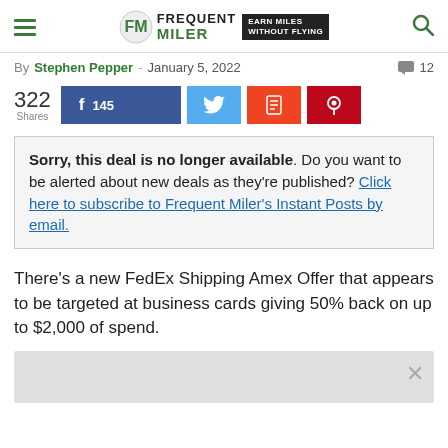Frequent Miler — Earn Miles Without Flying
By Stephen Pepper - January 5, 2022  💬 12
322 Shares  [Facebook 145] [Twitter] [Flipboard] [Pinterest]
Sorry, this deal is no longer available. Do you want to be alerted about new deals as they're published? Click here to subscribe to Frequent Miler's Instant Posts by email.
There's a new FedEx Shipping Amex Offer that appears to be targeted at business cards giving 50% back on up to $2,000 of spend.